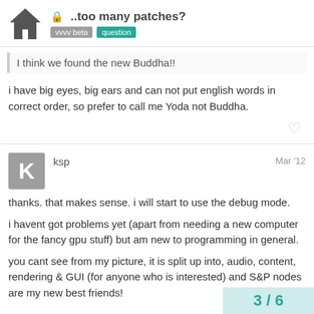..too many patches? | vvvv beta | question
I think we found the new Buddha!!
i have big eyes, big ears and can not put english words in correct order, so prefer to call me Yoda not Buddha.
ksp Mar '12
thanks. that makes sense. i will start to use the debug mode.
i havent got problems yet (apart from needing a new computer for the fancy gpu stuff) but am new to programming in general.
you cant see from my picture, it is split up into, audio, content, rendering & GUI (for anyone who is interested) and S&P nodes are my new best friends!
3 / 6